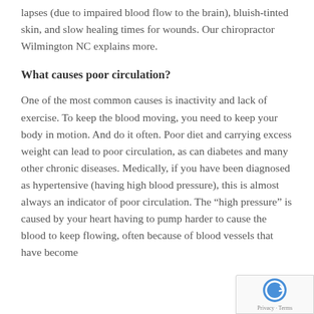lapses (due to impaired blood flow to the brain), bluish-tinted skin, and slow healing times for wounds. Our chiropractor Wilmington NC explains more.
What causes poor circulation?
One of the most common causes is inactivity and lack of exercise. To keep the blood moving, you need to keep your body in motion. And do it often. Poor diet and carrying excess weight can lead to poor circulation, as can diabetes and many other chronic diseases. Medically, if you have been diagnosed as hypertensive (having high blood pressure), this is almost always an indicator of poor circulation. The “high pressure” is caused by your heart having to pump harder to cause the blood to keep flowing, often because of blood vessels that have become